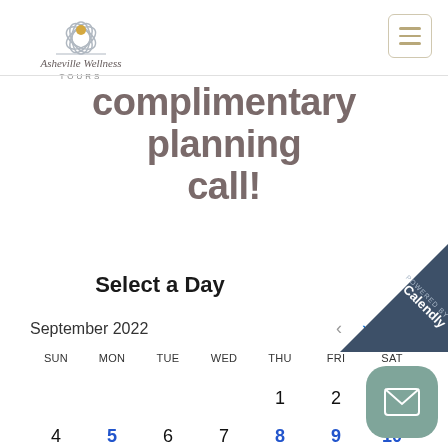[Figure (logo): Asheville Wellness Tours logo with lotus/flower icon and script text]
complimentary planning call!
[Figure (screenshot): Calendly scheduling widget showing Select a Day with September 2022 calendar. Navigation arrows for previous/next month. Days of week: SUN MON TUE WED THU FRI SAT. First row: 1 (THU), 2 (FRI), 3 (SAT). Second row: 4 (SUN), 5 (MON, available), 6 (TUE), 7 (WED), 8 (THU, available), 9 (FRI, available), 10 (SAT, available). Powered by Calendly badge in top right corner. Mail button in bottom right corner.]